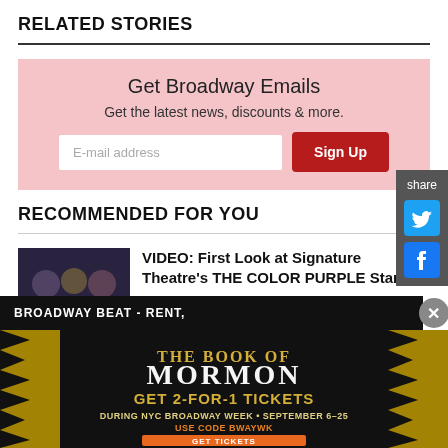RELATED STORIES
Get Broadway Emails
Get the latest news, discounts & more.
[Figure (screenshot): Email signup form with input field and Sign Up button on pink background]
RECOMMENDED FOR YOU
[Figure (photo): Photo of cast from The Color Purple at Signature Theatre]
VIDEO: First Look at Signature Theatre's THE COLOR PURPLE Starring
BROADWAY BEAT - RENT,
[Figure (infographic): The Book of Mormon advertisement - Get 2-for-1 tickets during NYC Broadway Week, September 6-25, Use Code BWAYWK, Get Tickets]
[Figure (infographic): Social share sidebar with Twitter and Facebook icons]